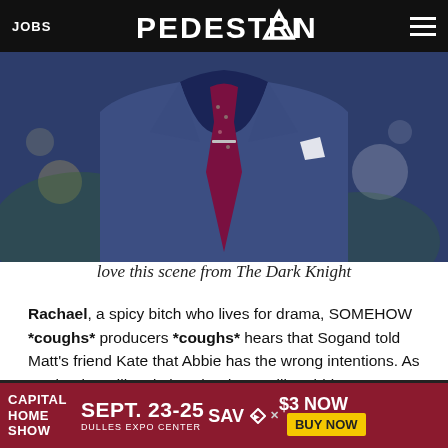JOBS | PEDESTRIAN | [hamburger menu]
[Figure (photo): Close-up photo of a man's torso wearing a navy blue suit jacket with a floral/paisley burgundy tie and white pocket square, against a blurred Christmas tree bokeh background.]
love this scene from The Dark Knight
Rachael, a spicy bitch who lives for drama, SOMEHOW *coughs* producers *coughs* hears that Sogand told Matt's friend Kate that Abbie has the wrong intentions. As Rachael readily admits, she doesn't like Abbie or Sogand, but just likes drama. Fair, tbh.
[Figure (screenshot): Advertisement banner: Capital Home Show, Sept. 23-25, Dulles Expo Center, Save $3 Now, Buy Now button.]